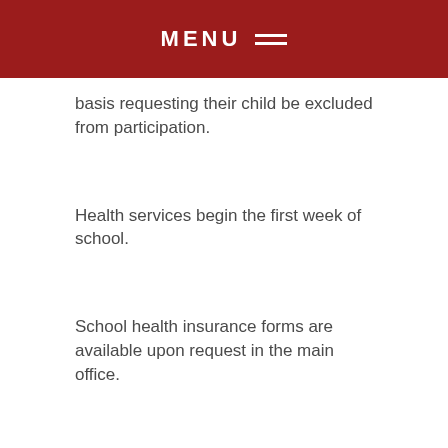MENU
basis requesting their child be excluded from participation.
Health services begin the first week of school.
School health insurance forms are available upon request in the main office.
Medicine and Medication